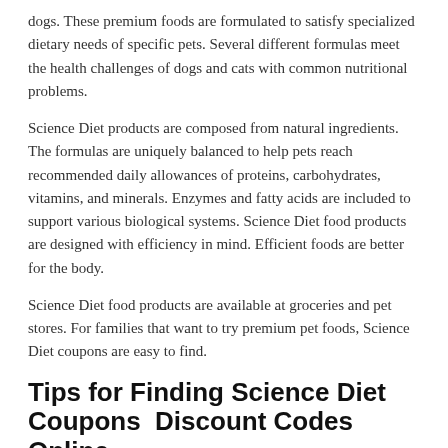dogs. These premium foods are formulated to satisfy specialized dietary needs of specific pets. Several different formulas meet the health challenges of dogs and cats with common nutritional problems.
Science Diet products are composed from natural ingredients. The formulas are uniquely balanced to help pets reach recommended daily allowances of proteins, carbohydrates, vitamins, and minerals. Enzymes and fatty acids are included to support various biological systems. Science Diet food products are designed with efficiency in mind. Efficient foods are better for the body.
Science Diet food products are available at groceries and pet stores. For families that want to try premium pet foods, Science Diet coupons are easy to find.
Tips for Finding Science Diet Coupons  Discount Codes Online
Hill's Pet Nutrition offers a new coupon that gives $5 in savings on purchases of Science Diet Nature's Best food products for cats and dogs. This Science Diet coupon is available on the company's official website. Another promotion allows potential customers to try Hill's Science Diet